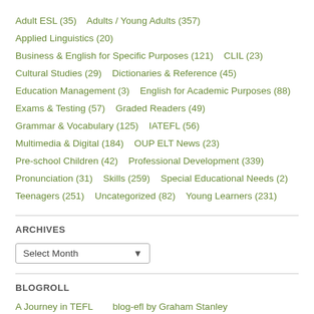Adult ESL (35)    Adults / Young Adults (357)
Applied Linguistics (20)
Business & English for Specific Purposes (121)    CLIL (23)
Cultural Studies (29)    Dictionaries & Reference (45)
Education Management (3)    English for Academic Purposes (88)
Exams & Testing (57)    Graded Readers (49)
Grammar & Vocabulary (125)    IATEFL (56)
Multimedia & Digital (184)    OUP ELT News (23)
Pre-school Children (42)    Professional Development (339)
Pronunciation (31)    Skills (259)    Special Educational Needs (2)
Teenagers (251)    Uncategorized (82)    Young Learners (231)
ARCHIVES
Select Month
BLOGROLL
A Journey in TEFL    blog-efl by Graham Stanley